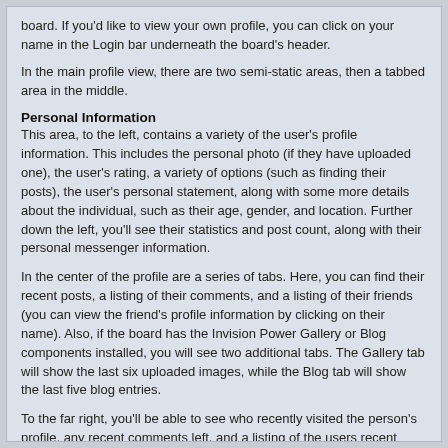board.  If you'd like to view your own profile, you can click on your name in the Login bar underneath the board's header.
In the main profile view, there are two semi-static areas, then a tabbed area in the middle.
Personal Information
This area, to the left, contains a variety of the user's profile information.  This includes the personal photo (if they have uploaded one), the user's rating, a variety of options (such as finding their posts), the user's personal statement, along with some more details about the individual, such as their age, gender, and location.  Further down the left, you'll see their statistics and post count, along with their personal messenger information.
In the center of the profile are a series of tabs.  Here, you can find their recent posts, a listing of their comments, and a listing of their friends (you can view the friend's profile information by clicking on their name).  Also, if the board has the Invision Power Gallery or Blog components installed, you will see two additional tabs.  The Gallery tab will show the last six uploaded images, while the Blog tab will show the last five blog entries.
To the far right, you'll be able to see who recently visited the person's profile, any recent comments left, and a listing of the users recent friends.
Adding Comments
You are able to leave comments about other users.  When you bring up their profile, on the far right you will notice a section of recent comments.  If you click on the "Add a Comment" button, you will then be able to leave a comment.
Moderating Comments
If a rude or otherwise offensive comment is left to you by another member, you can